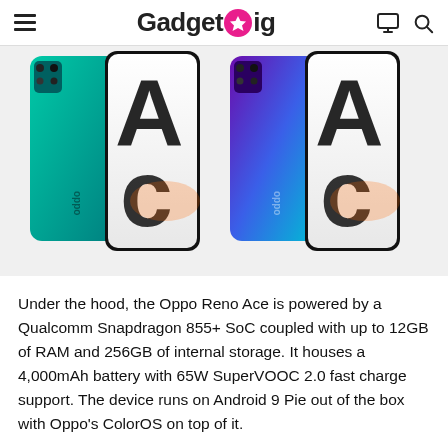GadgetGig
[Figure (photo): Two OPPO Reno Ace smartphones shown from the back — one in green/teal color and one in purple/blue gradient color, each displayed alongside their front screen showing a large 'Ace' text logo.]
Under the hood, the Oppo Reno Ace is powered by a Qualcomm Snapdragon 855+ SoC coupled with up to 12GB of RAM and 256GB of internal storage. It houses a 4,000mAh battery with 65W SuperVOOC 2.0 fast charge support. The device runs on Android 9 Pie out of the box with Oppo's ColorOS on top of it.
The company has also provided heat dissipation pipes which ensures the device to be cool while gaming and some other power-